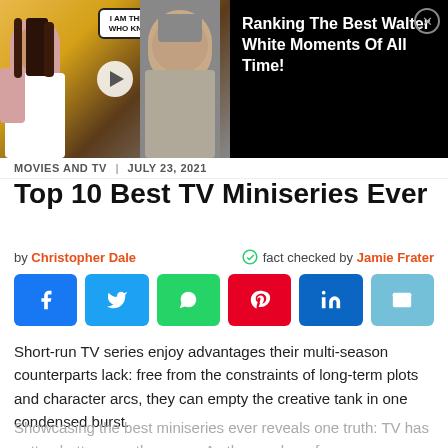[Figure (screenshot): Video thumbnail showing two people and Walter White with speech bubble 'I AM THE ONE WHO KNOCKS', and sidebar with title 'Ranking The Best Walter White Moments Of All Time!' on black background with close button]
MOVIES AND TV | JULY 23, 2021
Top 10 Best TV Miniseries Ever
by Christopher Dale  fact checked by Jamie Frater
[Figure (infographic): Social share buttons: Facebook (blue), Twitter (light blue), WhatsApp (green), Pinterest (red), LinkedIn (dark blue), Email (light teal)]
Short-run TV series enjoy advantages their multi-season counterparts lack: free from the constraints of long-term plots and character arcs, they can empty the creative tank in one condensed burst.
Showcasing the best miniseries ever reveals one truth: TV has gotten better over the years. As the number of